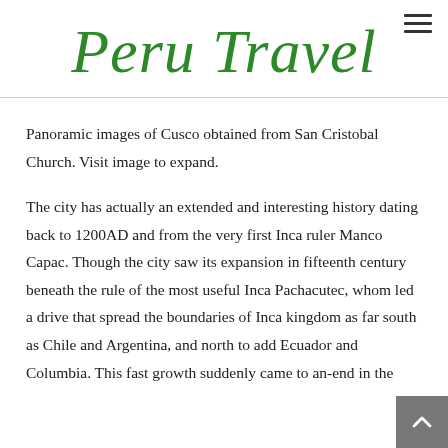Peru Travel
Panoramic images of Cusco obtained from San Cristobal Church. Visit image to expand.
The city has actually an extended and interesting history dating back to 1200AD and from the very first Inca ruler Manco Capac. Though the city saw its expansion in fifteenth century beneath the rule of the most useful Inca Pachacutec, whom led a drive that spread the boundaries of Inca kingdom as far south as Chile and Argentina, and north to add Ecuador and Columbia. This fast growth suddenly came to an-end in the